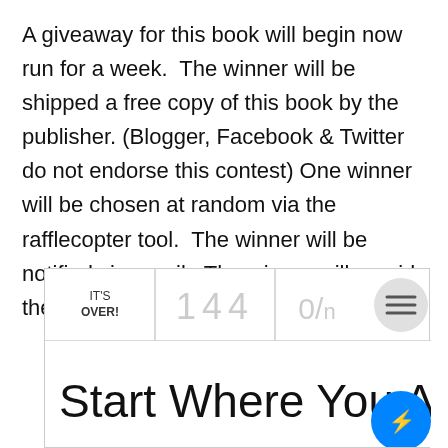A giveaway for this book will begin now run for a week. The winner will be shipped a free copy of this book by the publisher. (Blogger, Facebook & Twitter do not endorse this contest) One winner will be chosen at random via the rafflecopter tool. The winner will be notified via email. The winner will provide their shipping address for delivery.
[Figure (screenshot): Rafflecopter giveaway widget showing IT'S OVER! with 144 entries and 0/n, a hamburger menu button, and the beginning of the book title 'Start Where You Are' with a Facebook Messenger chat button overlay.]